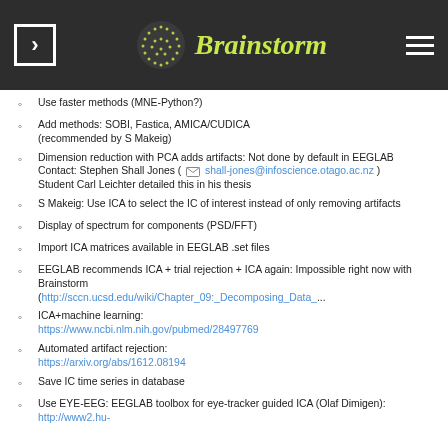Brainstorm
Use faster methods (MNE-Python?)
Add methods: SOBI, Fastica, AMICA/CUDICA (recommended by S Makeig)
Dimension reduction with PCA adds artifacts: Not done by default in EEGLAB
Contact: Stephen Shall Jones ( shall-jones@infoscience.otago.ac.nz )
Student Carl Leichter detailed this in his thesis
S Makeig: Use ICA to select the IC of interest instead of only removing artifacts
Display of spectrum for components (PSD/FFT)
Import ICA matrices available in EEGLAB .set files
EEGLAB recommends ICA + trial rejection + ICA again: Impossible right now with Brainstorm (http://sccn.ucsd.edu/wiki/Chapter_09:_Decomposing_Data_...)
ICA+machine learning: https://www.ncbi.nlm.nih.gov/pubmed/28497769
Automated artifact rejection: https://arxiv.org/abs/1612.08194
Save IC time series in database
Use EYE-EEG: EEGLAB toolbox for eye-tracker guided ICA (Olaf Dimigen): http://www2.hu-